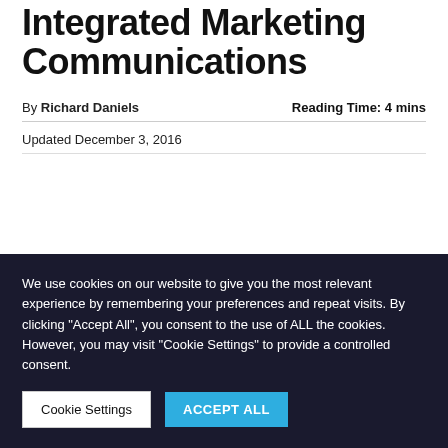Integrated Marketing Communications
By Richard Daniels   Reading Time: 4 mins
Updated December 3, 2016
We use cookies on our website to give you the most relevant experience by remembering your preferences and repeat visits. By clicking "Accept All", you consent to the use of ALL the cookies. However, you may visit "Cookie Settings" to provide a controlled consent.
Cookie Settings
ACCEPT ALL